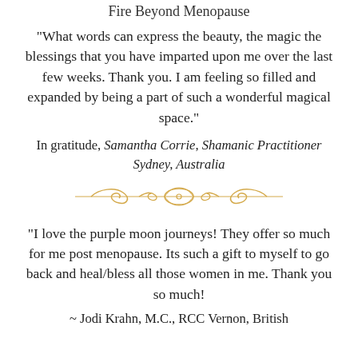Fire Beyond Menopause
“What words can express the beauty, the magic the blessings that you have imparted upon me over the last few weeks. Thank you. I am feeling so filled and expanded by being a part of such a wonderful magical space.”
In gratitude, Samantha Corrie, Shamanic Practitioner Sydney, Australia
[Figure (illustration): Decorative golden ornamental divider with scrollwork and wing-like elements]
“I love the purple moon journeys! They offer so much for me post menopause. Its such a gift to myself to go back and heal/bless all those women in me. Thank you so much!
~ Jodi Krahn, M.C., RCC Vernon, British